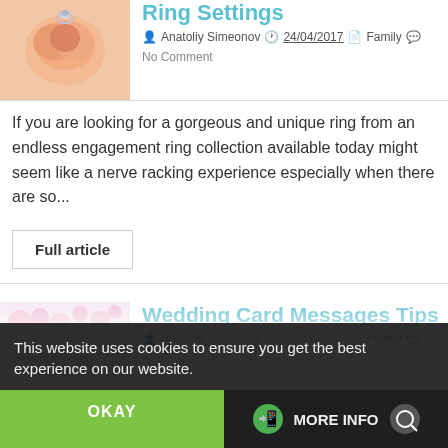[Figure (photo): Peach rose with a diamond ring resting on petals]
Ring Settings
Anatoliy Simeonov   24/04/2017   Family   No Comment
If you are looking for a gorgeous and unique ring from an endless engagement ring collection available today might seem like a nerve racking experience especially when there are so...
Full article
[Figure (photo): Wedding card with pink flowers and cursive text 'falling in love']
Wedding Card Messages Tips
Anatoliy Simeonov   30/03/2017   Family
This website uses cookies to ensure you get the best experience on our website.
OKAY
MORE INFO